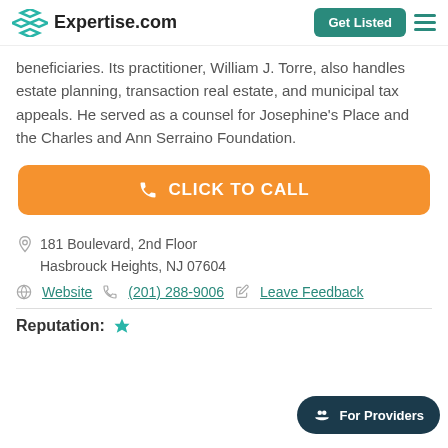Expertise.com
beneficiaries. Its practitioner, William J. Torre, also handles estate planning, transaction real estate, and municipal tax appeals. He served as a counsel for Josephine's Place and the Charles and Ann Serraino Foundation.
[Figure (other): Orange call-to-action button with phone icon and text CLICK TO CALL]
181 Boulevard, 2nd Floor Hasbrouck Heights, NJ 07604
Website  (201) 288-9006  Leave Feedback
Reputation:
[Figure (other): For Providers chat bubble button in dark teal]